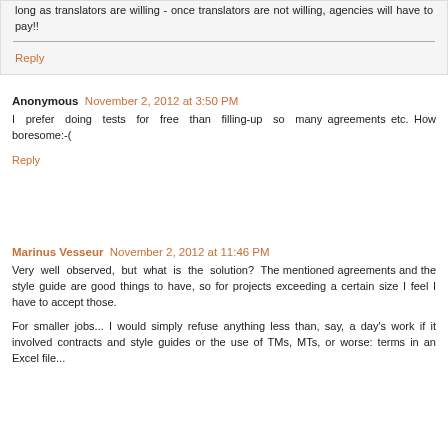long as translators are willing - once translators are not willing, agencies will have to pay!!
Reply
Anonymous  November 2, 2012 at 3:50 PM
I prefer doing tests for free than filling-up so many agreements etc. How boresome:-(
Reply
Marinus Vesseur  November 2, 2012 at 11:46 PM
Very well observed, but what is the solution? The mentioned agreements and the style guide are good things to have, so for projects exceeding a certain size I feel I have to accept those.
For smaller jobs... I would simply refuse anything less than, say, a day's work if it involved contracts and style guides or the use of TMs, MTs, or worse: terms in an Excel file...